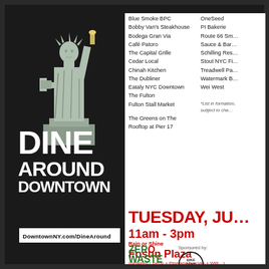[Figure (illustration): Statue of Liberty illustration on dark background, left column of event flyer]
DINE AROUND DOWNTOWN
DowntownNY.com/DineAround
Blue Smoke BPC
Bobby Van's Steakhouse
Bodega Gran Via
Café Patoro
The Capital Grille
Cedar Local
Chinah Kitchen
The Dubliner
Eataly NYC Downtown
The Fulton
Fulton Stall Market
The Greens on The Rooftop at Pier 17
OneSeed
PI Bakerie
Route 66 Sm…
Sauce & Bar…
Schilling Res…
Stout NYC Fi…
Treadwell Pa…
Watermark B…
Wei West
*List in formation, subject to cha…
TUESDAY, JU…
11am - 3pm
Rain or Shine
Fosun Plaza
(Between Liberty + Pine and Nassau + Willi…)
[Figure (logo): ZERO WASTE EVENT logo in green]
Sponsored by:
[Figure (logo): Bike Rent NYC circular logo]